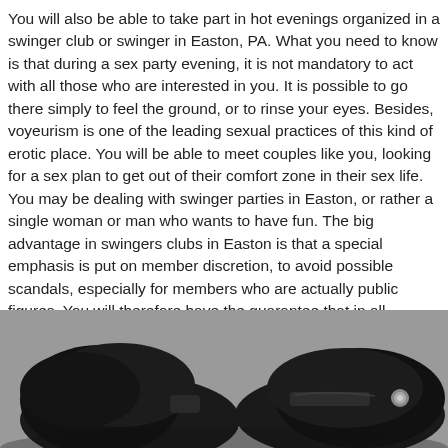You will also be able to take part in hot evenings organized in a swinger club or swinger in Easton, PA. What you need to know is that during a sex party evening, it is not mandatory to act with all those who are interested in you. It is possible to go there simply to feel the ground, or to rinse your eyes. Besides, voyeurism is one of the leading sexual practices of this kind of erotic place. You will be able to meet couples like you, looking for a sex plan to get out of their comfort zone in their sex life. You may be dealing with swinger parties in Easton, or rather a single woman or man who wants to have fun. The big advantage in swingers clubs in Easton is that a special emphasis is put on member discretion, to avoid possible scandals, especially for members who are actually public figures. You will therefore have the guarantee that in all circumstances, the organizers will take care to preserve your identity.
[Figure (photo): Close-up photo of black leather and fur-trimmed bondage cuffs on a gray background.]